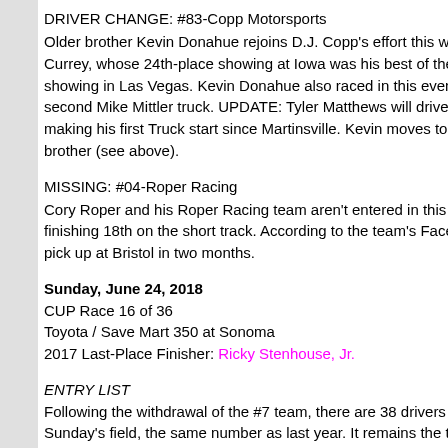DRIVER CHANGE: #83-Copp Motorsports
Older brother Kevin Donahue rejoins D.J. Copp's effort this week, taking Currey, whose 24th-place showing at Iowa was his best of the year since showing in Las Vegas. Kevin Donahue also raced in this event last year, second Mike Mittler truck. UPDATE: Tyler Matthews will drive in place of making his first Truck start since Martinsville. Kevin moves to the #63, ta brother (see above).
MISSING: #04-Roper Racing
Cory Roper and his Roper Racing team aren't entered in this week's race finishing 18th on the short track. According to the team's Facebook, their pick up at Bristol in two months.
Sunday, June 24, 2018
CUP Race 16 of 36
Toyota / Save Mart 350 at Sonoma
2017 Last-Place Finisher: Ricky Stenhouse, Jr.
ENTRY LIST
Following the withdrawal of the #7 team, there are 38 drivers entered for Sunday's field, the same number as last year. It remains the third conseco 2018 and the 13th of 16 races this season.
DRIVER CHANGE: #6-Roush-Fenway Racing